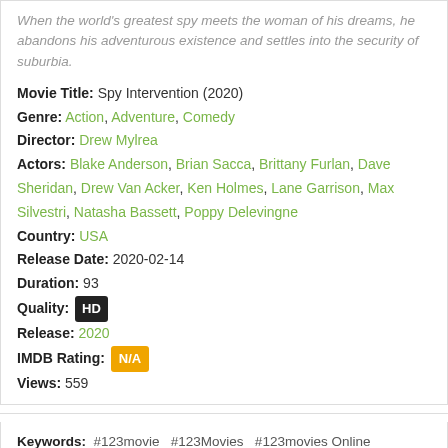When the world's greatest spy meets the woman of his dreams, he abandons his adventurous existence and settles into the security of suburbia.
Movie Title: Spy Intervention (2020)
Genre: Action, Adventure, Comedy
Director: Drew Mylrea
Actors: Blake Anderson, Brian Sacca, Brittany Furlan, Dave Sheridan, Drew Van Acker, Ken Holmes, Lane Garrison, Max Silvestri, Natasha Bassett, Poppy Delevingne
Country: USA
Release Date: 2020-02-14
Duration: 93
Quality: HD
Release: 2020
IMDB Rating: N/A
Views: 559
Keywords: #123movie #123Movies #123movies Online #123movies To #123moviesla #123moviespad #9movies To #Fmovie #Fmovies #Genvideos Com #Gomovies To #Gostream #Gostream Is #Gostreams #Online Free #Openload #Openload Co #Putlocker #Putlockers #Series9 #Seriesonline #Solarmovie #Swatchseries #Thevideo Me #Vidlox #Vidup Me